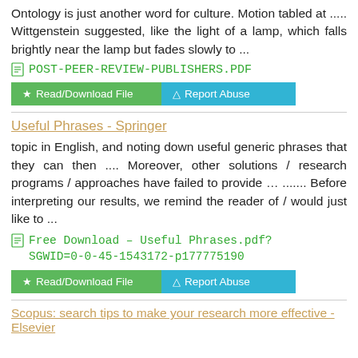Ontology is just another word for culture. Motion tabled at ..... Wittgenstein suggested, like the light of a lamp, which falls brightly near the lamp but fades slowly to ...
POST-PEER-REVIEW-PUBLISHERS.PDF
Read/Download File   Report Abuse
Useful Phrases - Springer
topic in English, and noting down useful generic phrases that they can then .... Moreover, other solutions / research programs / approaches have failed to provide … ....... Before interpreting our results, we remind the reader of / would just like to ...
Free Download – Useful Phrases.pdf?SGWID=0-0-45-1543172-p177775190
Read/Download File   Report Abuse
Scopus: search tips to make your research more effective - Elsevier